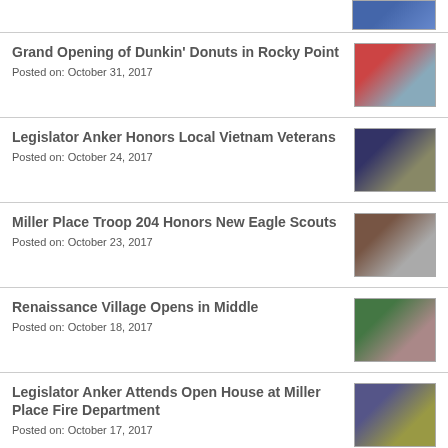[Figure (photo): Small thumbnail photo at top right, partial view]
Grand Opening of Dunkin' Donuts in Rocky Point
Posted on: October 31, 2017
[Figure (photo): Group photo at Dunkin Donuts grand opening with ribbon cutting]
Legislator Anker Honors Local Vietnam Veterans
Posted on: October 24, 2017
[Figure (photo): Group photo of Vietnam Veterans being honored]
Miller Place Troop 204 Honors New Eagle Scouts
Posted on: October 23, 2017
[Figure (photo): Group photo of Eagle Scouts ceremony]
Renaissance Village Opens in Middle
Posted on: October 18, 2017
[Figure (photo): Group photo at Renaissance Village ribbon cutting ceremony]
Legislator Anker Attends Open House at Miller Place Fire Department
Posted on: October 17, 2017
[Figure (photo): Photo at Miller Place Fire Department open house]